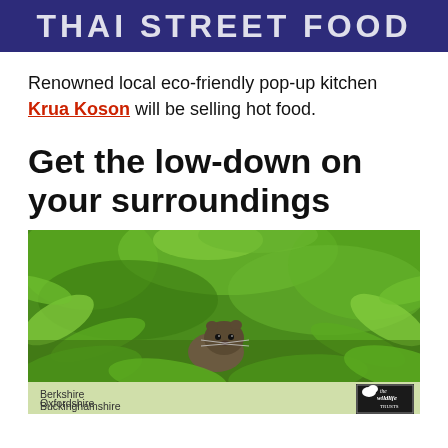THAI STREET FOOD
Renowned local eco-friendly pop-up kitchen Krua Koson will be selling hot food.
Get the low-down on your surroundings
[Figure (photo): A water vole peeking out from dense green foliage, with a Berkshire Buckinghamshire Oxfordshire Wildlife Trusts logo in the bottom right corner.]